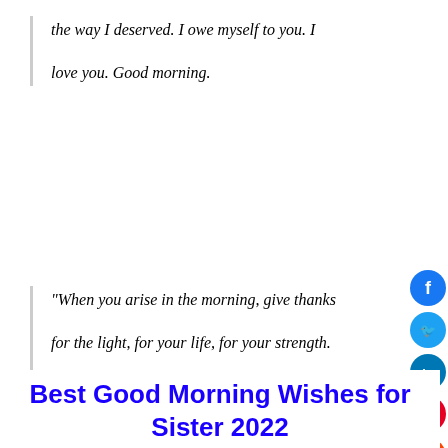the way I deserved. I owe myself to you. I love you. Good morning.
"When you arise in the morning, give thanks for the light, for your life, for your strength. Give thanks for your food and for the joy of living. If you see no reason to give thanks, the fault lies in yourself." – Tecumseh
Best Good Morning Wishes for Sister 2022